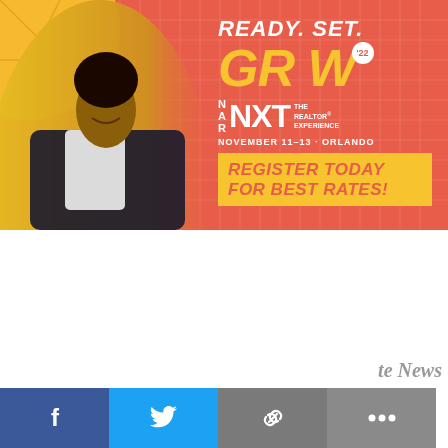[Figure (illustration): NAR NXT 2022 conference advertisement banner. Features a smiling man in a suit on a coral/red background with yellow accents. Text reads: READY. SET. GROW '22, NAR NXT THE REALTOR EXPERIENCE, NOVEMBER 11-13 · ORLANDO, REGISTER TODAY FOR BEST RATES!]
[Figure (infographic): White space area below the banner with partial text 'te News' visible in bottom right]
[Figure (infographic): Social sharing bar with four buttons: Facebook (blue), Twitter (light blue), Link/copy (gray), More options (dark gray)]